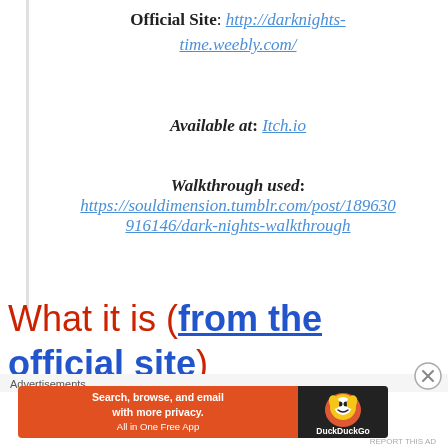Official Site: http://darknights-time.weebly.com/
Available at: Itch.io
Walkthrough used: https://souldimension.tumblr.com/post/189630916146/dark-nights-walkthrough
What it is (from the official site)
Advertisements
[Figure (other): DuckDuckGo advertisement banner: orange background with text 'Search, browse, and email with more privacy. All in One Free App' and DuckDuckGo duck logo on dark background]